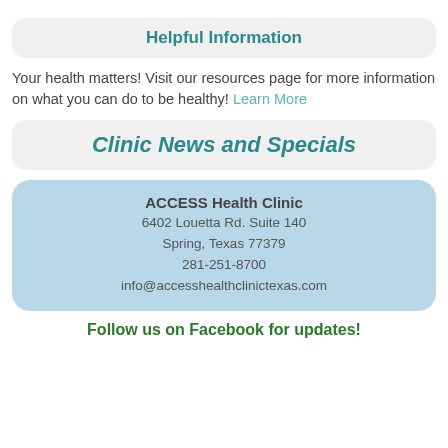Helpful Information
Your health matters! Visit our resources page for more information on what you can do to be healthy! Learn More
Clinic News and Specials
ACCESS Health Clinic
6402 Louetta Rd. Suite 140
Spring, Texas 77379
281-251-8700
info@accesshealthclinictexas.com
Follow us on Facebook for updates!